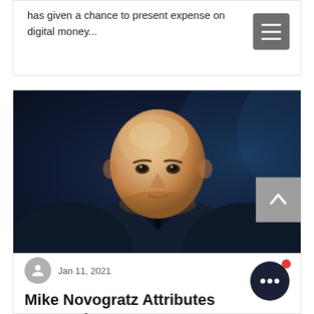has given a chance to present expense on digital money...
[Figure (photo): Portrait photo of Mike Novogratz, a bald man in a dark suit and black shirt, photographed against a dark blue background]
Jan 11, 2021
Mike Novogratz Attributes BTC's Rise